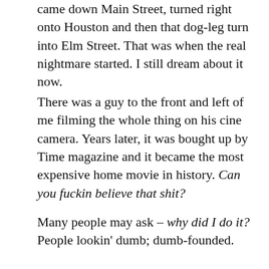came down Main Street, turned right onto Houston and then that dog-leg turn into Elm Street. That was when the real nightmare started. I still dream about it now.
There was a guy to the front and left of me filming the whole thing on his cine camera. Years later, it was bought up by Time magazine and it became the most expensive home movie in history. Can you fuckin believe that shit?
Many people may ask – why did I do it? People lookin' dumb; dumb-founded.
At the time – I was young; I quite enjoyed the silent notoriety.
I even quite liked the guy, actually. He was smart, intelligent, charismatic; classy wife too. But you know, I used to reason . . . a job is a job is a job . . . you have to be professional about these things. A soldier remains a soldier. Plus, I was the best